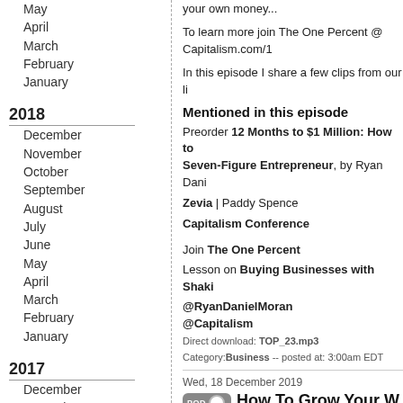May
April
March
February
January
2018
December
November
October
September
August
July
June
May
April
March
February
January
2017
December
November
October
September
August
July
June
May
April
March
February
January
your own money...
To learn more join The One Percent @ Capitalism.com/1
In this episode I share a few clips from our li
Mentioned in this episode
Preorder 12 Months to $1 Million: How to Seven-Figure Entrepreneur, by Ryan Dani
Zevia | Paddy Spence
Capitalism Conference
Join The One Percent
Lesson on Buying Businesses with Shaki
@RyanDanielMoran
@Capitalism
Direct download: TOP_23.mp3
Category: Business -- posted at: 3:00am EDT
Wed, 18 December 2019
How To Grow Your W #WednesdayWithW
Let's talk about money! Today's episode is a from all of Ryan's trials and errors.